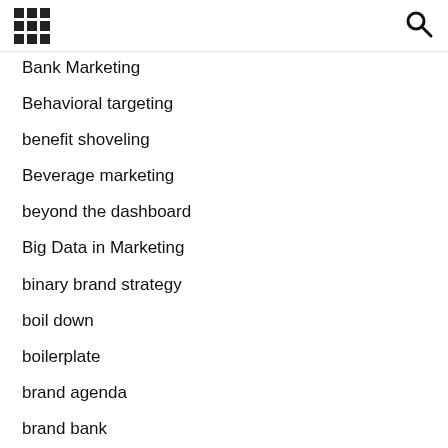[grid icon] [search icon]
Bank Marketing
Behavioral targeting
benefit shoveling
Beverage marketing
beyond the dashboard
Big Data in Marketing
binary brand strategy
boil down
boilerplate
brand agenda
brand bank
brand brief
Brand builders
brand building